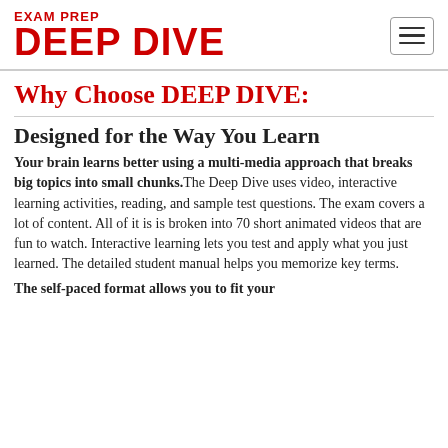EXAM PREP DEEP DIVE
Why Choose DEEP DIVE:
Designed for the Way You Learn
Your brain learns better using a multi-media approach that breaks big topics into small chunks. The Deep Dive uses video, interactive learning activities, reading, and sample test questions. The exam covers a lot of content. All of it is is broken into 70 short animated videos that are fun to watch. Interactive learning lets you test and apply what you just learned. The detailed student manual helps you memorize key terms.
The self-paced format allows you to fit your